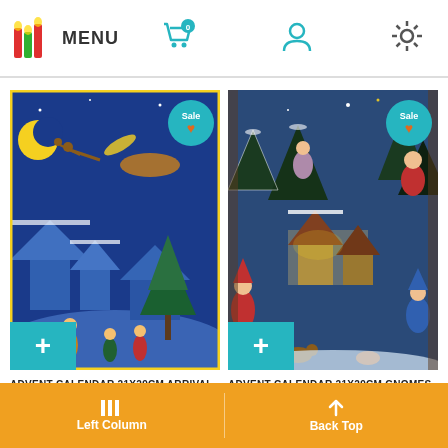MENU | Cart (0) | User | Settings
[Figure (screenshot): Advent Calendar 21x29cm Arrival of Santa Claus on the Sleigh product image with blue winter village scene, Santa riding sleigh, Sale badge, and add to cart button]
[Figure (screenshot): Advent Calendar 21x29cm Gnomes in the Woods product image with snowy winter forest scene with gnomes, Santa, Sale badge, and add to cart button]
ADVENT CALENDAR 21X29CM ARRIVAL OF SANTA CLAUS ON THE SLEIGH |
ADVENT CALENDAR 21X29CM GNOMES IN THE WOODS | SELEZIONE
Left Column | Back Top